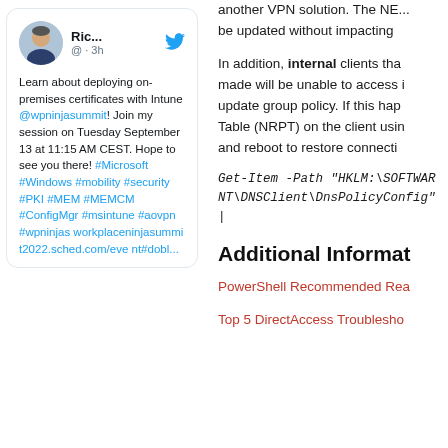[Figure (screenshot): Tweet card from user 'Ric...' (@) posted 3h ago. Text: 'Learn about deploying on-premises certificates with Intune @wpninjasummit! Join my session on Tuesday September 13 at 11:15 AM CEST. Hope to see you there! #Microsoft #Windows #mobility #security #PKI #MEM #MEMCM #ConfigMgr #msintune #aovpn #wpninjas workplaceninjasummit2022.sched.com/eve... (truncated)']
another VPN solution. The NE... be updated without impacting
In addition, internal clients that... made will be unable to access i... update group policy. If this hap... Table (NRPT) on the client usin... and reboot to restore connecti...
Additional Informat...
PowerShell Recommended Rea...
Top 5 DirectAccess Troublesho...